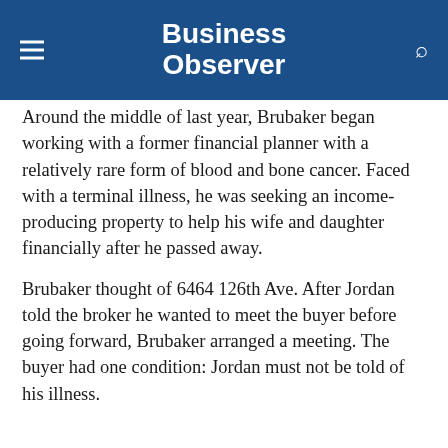Business Observer
Around the middle of last year, Brubaker began working with a former financial planner with a relatively rare form of blood and bone cancer. Faced with a terminal illness, he was seeking an income-producing property to help his wife and daughter financially after he passed away.
Brubaker thought of 6464 126th Ave. After Jordan told the broker he wanted to meet the buyer before going forward, Brubaker arranged a meeting. The buyer had one condition: Jordan must not be told of his illness.